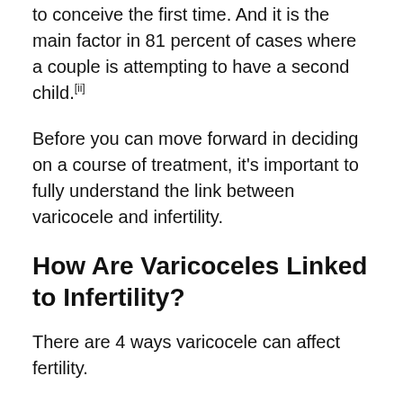to conceive the first time. And it is the main factor in 81 percent of cases where a couple is attempting to have a second child.[ii]
Before you can move forward in deciding on a course of treatment, it's important to fully understand the link between varicocele and infertility.
How Are Varicoceles Linked to Infertility?
There are 4 ways varicocele can affect fertility.
1. Low Sperm Count – Varicoceles can cause a low sperm count. Low sperm count is one of the most common causes of infertility and affects almost half of the men dealing with male factor infertility.[iii]